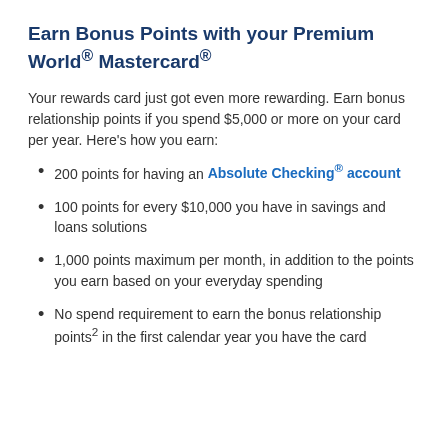Earn Bonus Points with your Premium World® Mastercard®
Your rewards card just got even more rewarding. Earn bonus relationship points if you spend $5,000 or more on your card per year. Here's how you earn:
200 points for having an Absolute Checking® account
100 points for every $10,000 you have in savings and loans solutions
1,000 points maximum per month, in addition to the points you earn based on your everyday spending
No spend requirement to earn the bonus relationship points² in the first calendar year you have the card